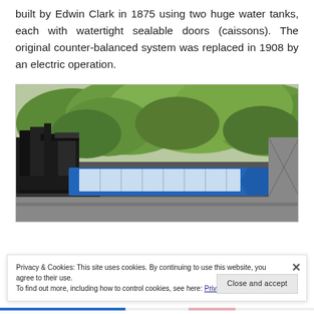built by Edwin Clark in 1875 using two huge water tanks, each with watertight sealable doors (caissons). The original counter-balanced system was replaced in 1908 by an electric operation.
[Figure (photo): Photo of a blue canal boat or barge on a lift, with green trees in the background and dark industrial machinery structure on the left side.]
Privacy & Cookies: This site uses cookies. By continuing to use this website, you agree to their use.
To find out more, including how to control cookies, see here: Privacy Policy
Close and accept